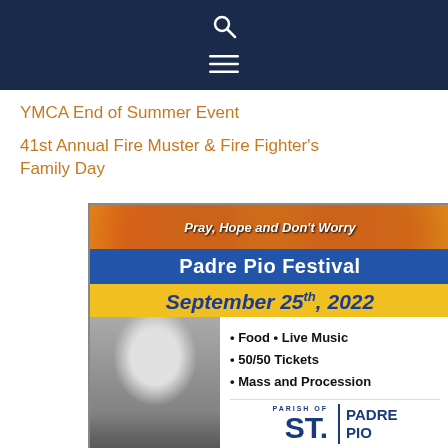[Figure (screenshot): Dark navy navigation bar with a search icon (magnifying glass) and a hamburger menu icon (three horizontal lines)]
YMCA End of Summer Event
41st Annual Fire Muster & Fire Fighter's Family Day
[Figure (infographic): Advertisement for Padre Pio Festival. Top sunflower banner reads 'Pray, Hope and Don't Worry'. Blue bar: 'Padre Pio Festival'. Yellow bar: 'September 25th, 2022'. Content area with grayscale portrait of Padre Pio and bullet list: Food • Live Music, 50/50 Tickets, Mass and Procession. Parish of St. Padre Pio logo. Red bar: 'Click for more info >>>'. Blue footer: 'Church of Our Lady of Pompeii • Vineland']